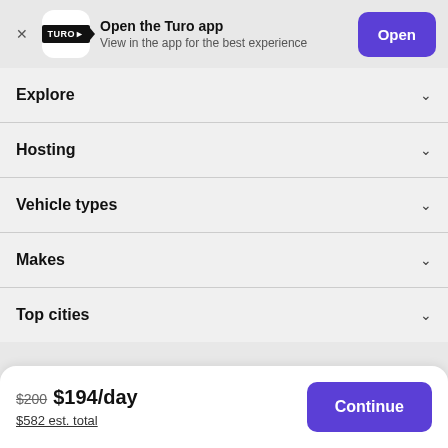[Figure (screenshot): Turo app banner with app icon, 'Open the Turo app' text, 'View in the app for the best experience' subtitle, and blue 'Open' button]
Explore
Hosting
Vehicle types
Makes
Top cities
$200 $194/day
$582 est. total
Continue